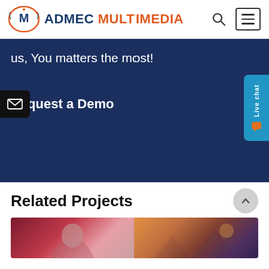ADMEC MULTIMEDIA
us, You matters the most!
Request a Demo
Related Projects
[Figure (photo): Two project thumbnail images side by side at the bottom of the page]